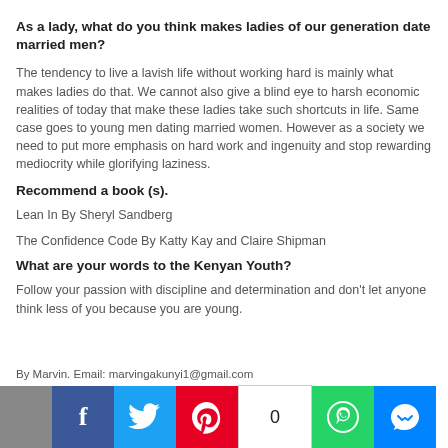As a lady, what do you think makes ladies of our generation date married men?
The tendency to live a lavish life without working hard is mainly what makes ladies do that. We cannot also give a blind eye to harsh economic realities of today that make these ladies take such shortcuts in life. Same case goes to young men dating married women. However as a society we need to put more emphasis on hard work and ingenuity and stop rewarding mediocrity while glorifying laziness.
Recommend a book (s).
Lean In By Sheryl Sandberg
The Confidence Code By Katty Kay and Claire Shipman
What are your words to the Kenyan Youth?
Follow your passion with discipline and determination and don't let anyone think less of you because you are young.
By Marvin. Email: marvingakunyi1@gmail.com